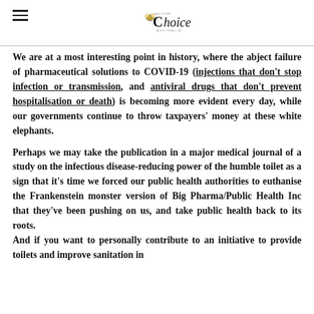Vaccine Choice Australia
We are at a most interesting point in history, where the abject failure of pharmaceutical solutions to COVID-19 (injections that don't stop infection or transmission, and antiviral drugs that don't prevent hospitalisation or death) is becoming more evident every day, while our governments continue to throw taxpayers' money at these white elephants.
Perhaps we may take the publication in a major medical journal of a study on the infectious disease-reducing power of the humble toilet as a sign that it's time we forced our public health authorities to euthanise the Frankenstein monster version of Big Pharma/Public Health Inc that they've been pushing on us, and take public health back to its roots.
And if you want to personally contribute to an initiative to provide toilets and improve sanitation in